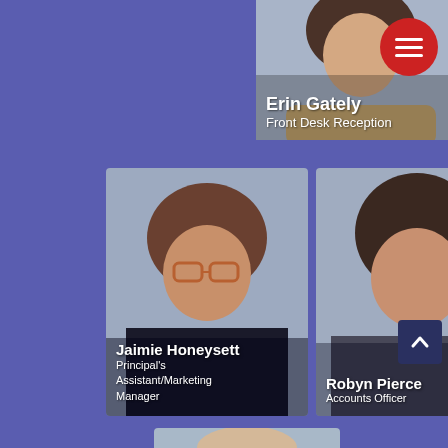[Figure (photo): Partial staff profile card for Erin Gately, Front Desk Reception, showing top portion of photo with name and title overlay]
Erin Gately
Front Desk Reception
[Figure (photo): Staff profile photo of Jaimie Honeysett, a woman with glasses and brown hair wearing a black top]
Jaimie Honeysett
Principal's Assistant/Marketing Manager
[Figure (photo): Staff profile photo of Robyn Pierce, a woman with dark shoulder-length hair wearing a dark top]
Robyn Pierce
Accounts Officer
[Figure (photo): Partial staff profile card showing top of a man's head, card is cut off at bottom of page]